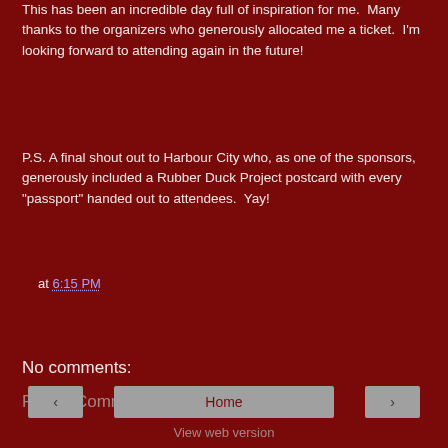This has been an incredible day full of inspiration for me.  Many thanks to the organizers who generously allocated me a ticket.  I'm looking forward to attending again in the future!
P.S. A final shout out to Harbour City who, as one of the sponsors, generously included a Rubber Duck Project postcard with every "passport" handed out to attendees.  Yay!
at 6:15 PM
Share
No comments:
Post a Comment
‹   Home   ›   View web version